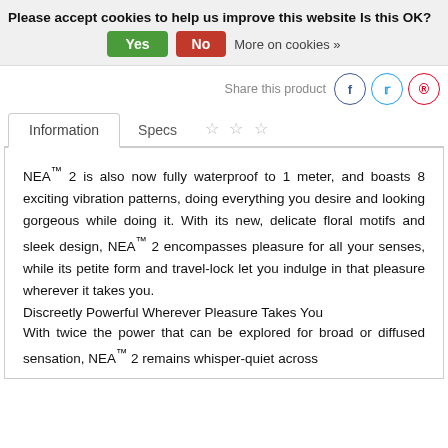Please accept cookies to help us improve this website Is this OK?  Yes  No  More on cookies »
Share this product
Information  Specs  ☆ ☆ ☆
NEA™ 2 is also now fully waterproof to 1 meter, and boasts 8 exciting vibration patterns, doing everything you desire and looking gorgeous while doing it. With its new, delicate floral motifs and sleek design, NEA™ 2 encompasses pleasure for all your senses, while its petite form and travel-lock let you indulge in that pleasure wherever it takes you.
Discreetly Powerful Wherever Pleasure Takes You
With twice the power that can be explored for broad or diffused sensation, NEA™ 2 remains whisper-quiet across